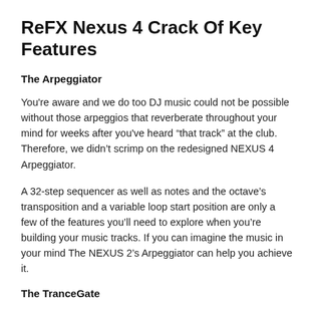ReFX Nexus 4 Crack Of Key Features
The Arpeggiator
You're aware and we do too DJ music could not be possible without those arpeggios that reverberate throughout your mind for weeks after you've heard “that track” at the club. Therefore, we didn’t scrimp on the redesigned NEXUS 4 Arpeggiator.
A 32-step sequencer as well as notes and the octave’s transposition and a variable loop start position are only a few of the features you’ll need to explore when you’re building your music tracks. If you can imagine the music in your mind The NEXUS 2’s Arpeggiator can help you achieve it.
The TranceGate